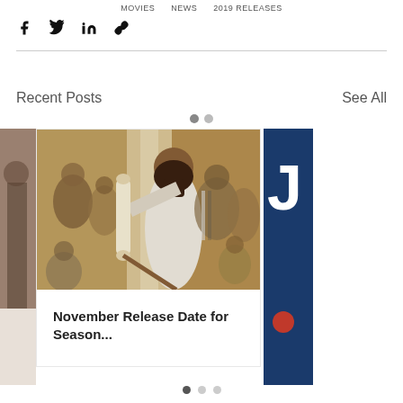Movies   News   2019 Releases
[Figure (infographic): Social share icons: Facebook, Twitter, LinkedIn, and link/chain icon]
Recent Posts
See All
[Figure (photo): Center card showing a scene from a film/show: a bearded man in white robes holding a large scroll, surrounded by other people in ancient-style clothing. Card title: November Release Date for Season...]
[Figure (photo): Left partial card: partially visible person in a darker setting]
[Figure (photo): Right partial card: dark blue background with large white letter J and red dot, partially visible]